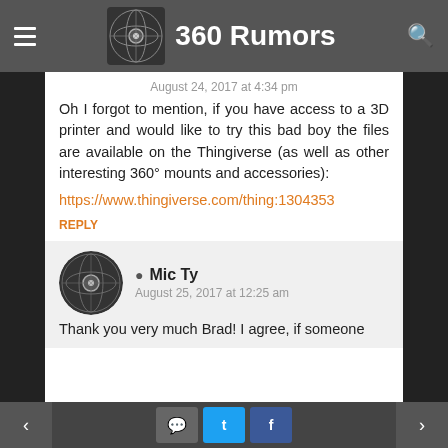360 Rumors
August 24, 2017 at 4:34 pm
Oh I forgot to mention, if you have access to a 3D printer and would like to try this bad boy the files are available on the Thingiverse (as well as other interesting 360° mounts and accessories): https://www.thingiverse.com/thing:1304353
REPLY
Mic Ty
August 25, 2017 at 12:25 am
Thank you very much Brad! I agree, if someone